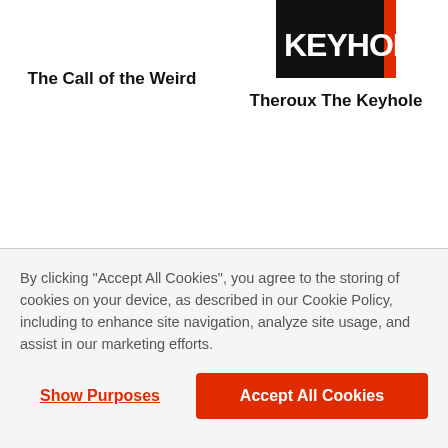[Figure (logo): KEYHOLE logo — white bold text on black background with orange right edge accent]
The Call of the Weird
Theroux The Keyhole
By clicking “Accept All Cookies”, you agree to the storing of cookies on your device, as described in our Cookie Policy, including to enhance site navigation, analyze site usage, and assist in our marketing efforts.
Show Purposes
Accept All Cookies